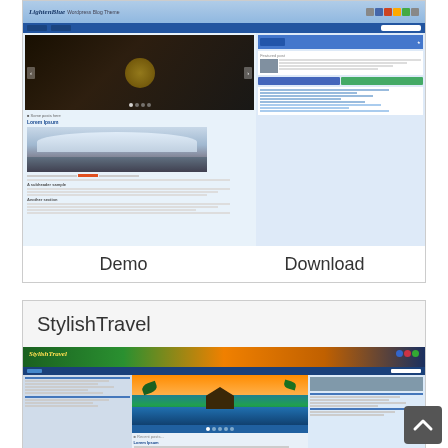[Figure (screenshot): Screenshot of 'LightenBlue' WordPress theme showing a blue-tinted website with header, navigation, hero image slider with music/city scene, sidebar, and article content with a mountain/glacier photo]
Demo
Download
StylishTravel
[Figure (screenshot): Screenshot of 'StylishTravel' WordPress theme showing a tropical travel website with palm trees, a resort/bungalow over water hero image, navigation sidebar, and content area]